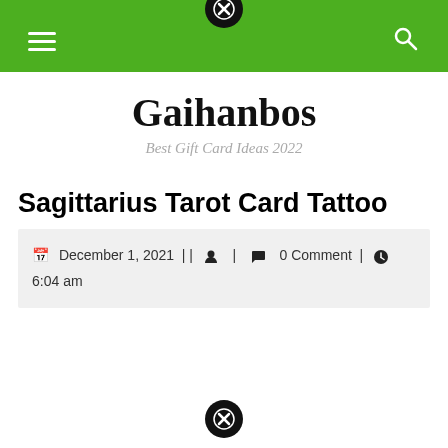Gaihanbos — Best Gift Card Ideas 2022
Sagittarius Tarot Card Tattoo
December 1, 2021 | | 🧑 | 💬 0 Comment | 🕐 6:04 am